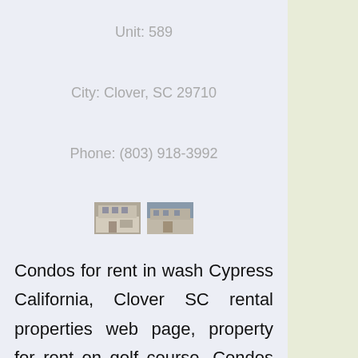Unit: 589
City: Clover, SC 29710
Phone: (803) 918-3992
[Figure (photo): Two small thumbnail photos of a residential building/condo property]
Condos for rent in wash Cypress California, Clover SC rental properties web page, property for rent on golf course. Condos for rent oversea.